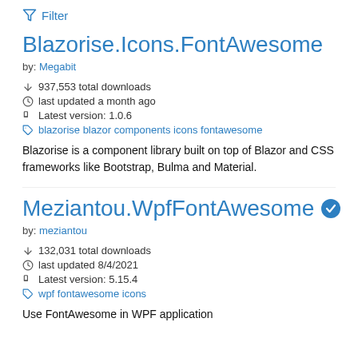Filter
Blazorise.Icons.FontAwesome
by: Megabit
937,553 total downloads
last updated a month ago
Latest version: 1.0.6
blazorise blazor components icons fontawesome
Blazorise is a component library built on top of Blazor and CSS frameworks like Bootstrap, Bulma and Material.
Meziantou.WpfFontAwesome
by: meziantou
132,031 total downloads
last updated 8/4/2021
Latest version: 5.15.4
wpf fontawesome icons
Use FontAwesome in WPF application